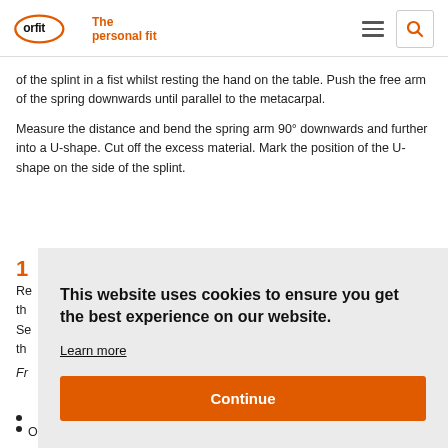orfit — The personal fit
of the splint in a fist whilst resting the hand on the table. Push the free arm of the spring downwards until parallel to the metacarpal.
Measure the distance and bend the spring arm 90° downwards and further into a U-shape. Cut off the excess material. Mark the position of the U-shape on the side of the splint.
Cookie notice: This website uses cookies to ensure you get the best experience on our website.
Learn more
Continue
One strap already provided proximally. Optionally, a narrow strap